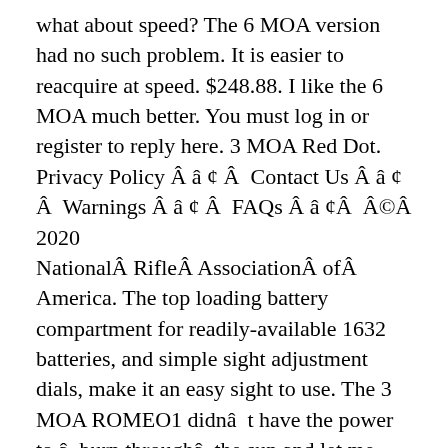what about speed? The 6 MOA version had no such problem. It is easier to reacquire at speed. $248.88. I like the 6 MOA much better. You must log in or register to reply here. 3 MOA Red Dot. Privacy Policy Â â ¢ Â  Contact Us Â â ¢ Â  Warnings Â â ¢ Â  FAQs Â â ¢Â  Â©Â 2020
NationalÂ RifleÂ AssociationÂ ofÂ America. The top loading battery compartment for readily-available 1632 batteries, and simple sight adjustment dials, make it an easy sight to use. The 3 MOA ROMEO1 didnât have the power to âburn throughâ the sun and let me find the dot quickly. Cool thread, good to read something non-political for a change... if the